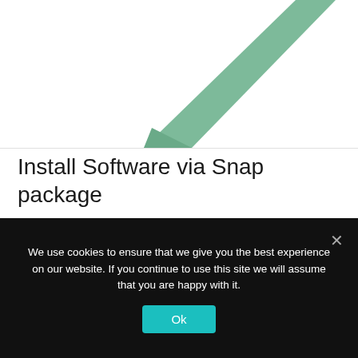[Figure (logo): Partial view of a green angular logo mark, showing a sharp triangular chevron/lightning bolt shape in muted green on white background]
Install Software via Snap package
sudo snap install iptvnator
We use cookies to ensure that we give you the best experience on our website. If you continue to use this site we will assume that you are happy with it.